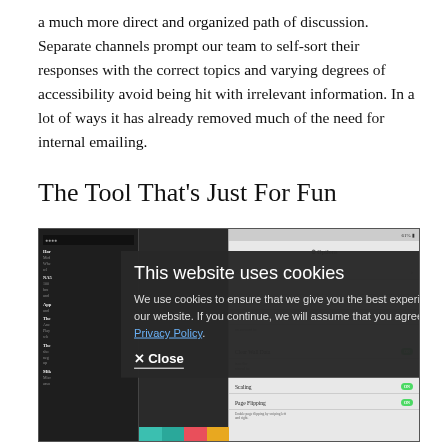a much more direct and organized path of discussion. Separate channels prompt our team to self-sort their responses with the correct topics and varying degrees of accessibility avoid being hit with irrelevant information. In a lot of ways it has already removed much of the need for internal emailing.
The Tool That's Just For Fun
[Figure (screenshot): Screenshot of a mobile app overlaid with a cookie consent dialog. The dialog reads 'This website uses cookies' and 'We use cookies to ensure that we give you the best experience on our website. If you continue, we will assume that you agree to our Privacy Policy.' with a Close button. Behind the overlay are two app panels showing a dark-themed list on the left and a settings screen on the right.]